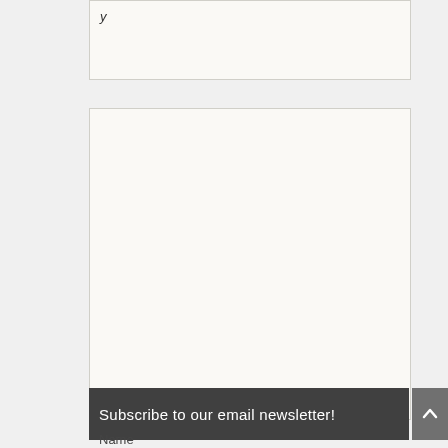[Figure (other): Top content box, mostly empty with partial italic text at top-left]
[Figure (other): Large empty white content box]
Subscribe to our email newsletter!
Name